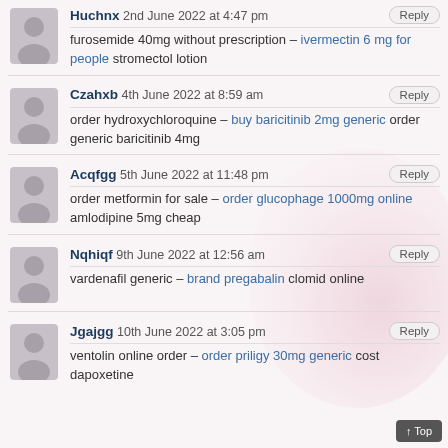Huchnx 2nd June 2022 at 4:47 pm — furosemide 40mg without prescription – ivermectin 6 mg for people stromectol lotion
Czahxb 4th June 2022 at 8:59 am — order hydroxychloroquine – buy baricitinib 2mg generic order generic baricitinib 4mg
Acqfgg 5th June 2022 at 11:48 pm — order metformin for sale – order glucophage 1000mg online amlodipine 5mg cheap
Nqhiqf 9th June 2022 at 12:56 am — vardenafil generic – brand pregabalin clomid online
Jgajgg 10th June 2022 at 3:05 pm — ventolin online order – order priligy 30mg generic cost dapoxetine